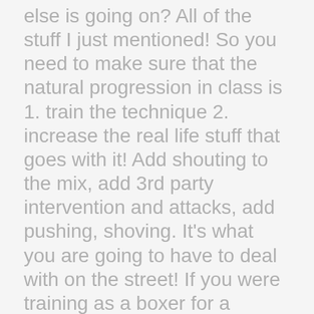else is going on? All of the stuff I just mentioned! So you need to make sure that the natural progression in class is 1. train the technique 2. increase the real life stuff that goes with it! Add shouting to the mix, add 3rd party intervention and attacks, add pushing, shoving. It's what you are going to have to deal with on the street! If you were training as a boxer for a boxing match you wouldn't train for kick defences right? But its possible that you might get kicked in a boxing match? But its unlikely as its against the rules so people don't train it. The same way we don't need to train for the unlikeliness that someone attacks you with a jumping superman stick poke, a boxer doesn't train to defend takedowns. Use your training time wisely by training for something which is actually likely to happen!!